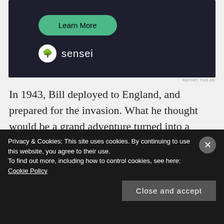[Figure (screenshot): Advertisement banner with dark background (#1e1e2e) showing a green 'Learn More' button and Sensei logo/branding on the right side.]
REPORT THIS AD
In 1943, Bill deployed to England, and prepared for the invasion. What he thought would be a grand adventure turned into a nightmare which he vividly captured in his book.
Privacy & Cookies: This site uses cookies. By continuing to use this website, you agree to their use.
To find out more, including how to control cookies, see here: Cookie Policy